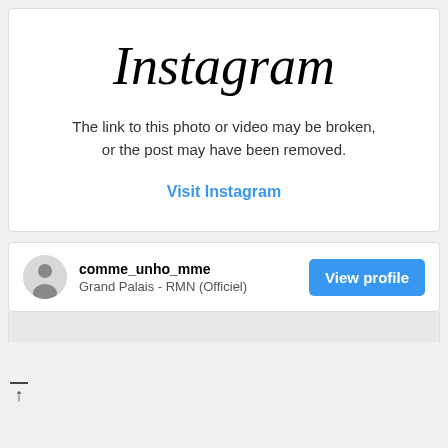[Figure (screenshot): Instagram embedded post error card showing broken link message and Visit Instagram link, followed by a profile card for comme_unho_mme / Grand Palais - RMN (Officiel) with a View profile button]
Instagram
The link to this photo or video may be broken, or the post may have been removed.
Visit Instagram
comme_unho_mme
Grand Palais - RMN (Officiel)